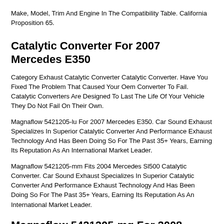Make, Model, Trim And Engine In The Compatibility Table. California Proposition 65.
Catalytic Converter For 2007 Mercedes E350
Category Exhaust Catalytic Converter Catalytic Converter. Have You Fixed The Problem That Caused Your Oem Converter To Fail. Catalytic Converters Are Designed To Last The Life Of Your Vehicle They Do Not Fail On Their Own.
Magnaflow 5421205-lu For 2007 Mercedes E350. Car Sound Exhaust Specializes In Superior Catalytic Converter And Performance Exhaust Technology And Has Been Doing So For The Past 35+ Years, Earning Its Reputation As An International Market Leader.
Magnaflow 5421205-mm Fits 2004 Mercedes Sl500 Catalytic Converter. Car Sound Exhaust Specializes In Superior Catalytic Converter And Performance Exhaust Technology And Has Been Doing So For The Past 35+ Years, Earning Its Reputation As An International Market Leader.
Magnaflow 5421205-mq For 2008